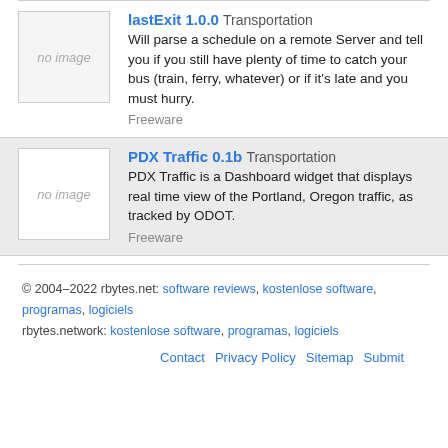lastExit 1.0.0 Transportation
Will parse a schedule on a remote Server and tell you if you still have plenty of time to catch your bus (train, ferry, whatever) or if it's late and you must hurry.
Freeware
PDX Traffic 0.1b Transportation
PDX Traffic is a Dashboard widget that displays real time view of the Portland, Oregon traffic, as tracked by ODOT.
Freeware
© 2004–2022 rbytes.net: software reviews, kostenlose software, programas, logiciels
rbytes.network: kostenlose software, programas, logiciels
Contact  Privacy Policy  Sitemap  Submit